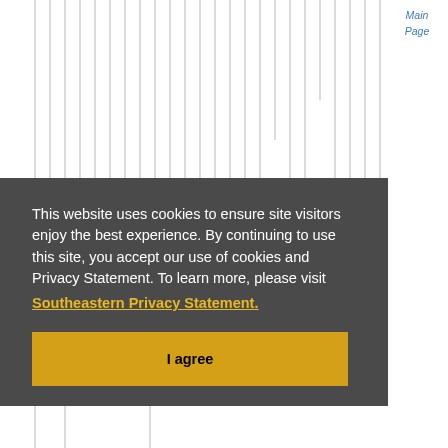[Figure (screenshot): Website screenshot showing vertical line decorative background pattern in the top section]
Main Page
This website uses cookies to ensure site visitors enjoy the best experience. By continuing to use this site, you accept our use of cookies and Privacy Statement. To learn more, please visit Southeastern Privacy Statement.
I agree